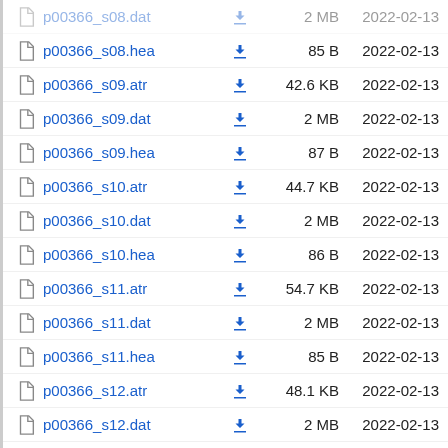p00366_s08.dat  2 MB  2022-02-13
p00366_s08.hea  85 B  2022-02-13
p00366_s09.atr  42.6 KB  2022-02-13
p00366_s09.dat  2 MB  2022-02-13
p00366_s09.hea  87 B  2022-02-13
p00366_s10.atr  44.7 KB  2022-02-13
p00366_s10.dat  2 MB  2022-02-13
p00366_s10.hea  86 B  2022-02-13
p00366_s11.atr  54.7 KB  2022-02-13
p00366_s11.dat  2 MB  2022-02-13
p00366_s11.hea  85 B  2022-02-13
p00366_s12.atr  48.1 KB  2022-02-13
p00366_s12.dat  2 MB  2022-02-13
p00366_s12.hea  86 B  2022-02-13